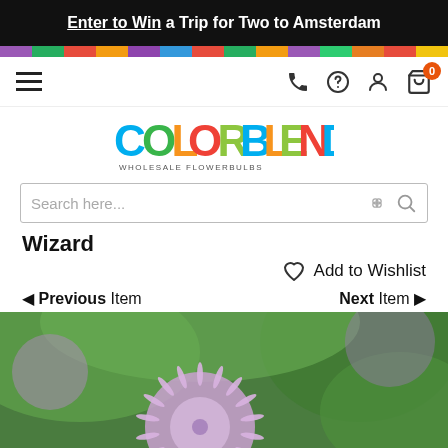Enter to Win a Trip for Two to Amsterdam
[Figure (screenshot): Navigation bar with hamburger menu and icons for phone, help, account, cart (0 items)]
[Figure (logo): ColorBlends Wholesale Flowerbulbs logo with multicolored letters]
Search here...
Wizard
Add to Wishlist
◄ Previous Item   Next Item ►
[Figure (photo): Close-up photograph of purple allium/wizard flower blooms with green foliage in the background]